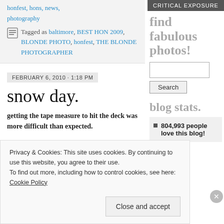honfest, hons, news, photography
Tagged as baltimore, BEST HON 2009, BLONDE PHOTO, honfest, THE BLONDE PHOTOGRAPHER
FEBRUARY 6, 2010 · 1:18 PM
snow day.
getting the tape measure to hit the deck was more difficult than expected.
CRITICAL EXPOSURE
find fabulous photos!
Search
blog stats.
804,993 people love this blog!
recent.
Privacy & Cookies: This site uses cookies. By continuing to use this website, you agree to their use.
To find out more, including how to control cookies, see here: Cookie Policy